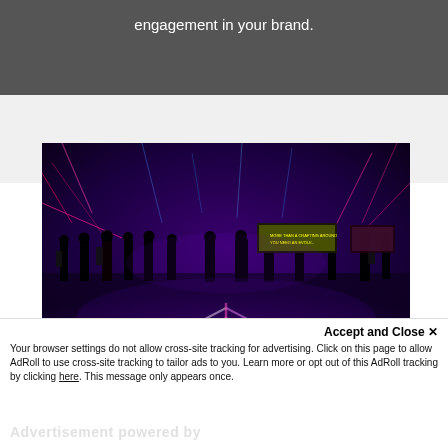engagement in your brand.
[Figure (photo): People silhouetted in an immersive digital art installation with purple and pink neon light trails on floor and walls, creating a cosmic/space-like environment.]
Accept and Close ×
Your browser settings do not allow cross-site tracking for advertising. Click on this page to allow AdRoll to use cross-site tracking to tailor ads to you. Learn more or opt out of this AdRoll tracking by clicking here. This message only appears once.
Advertisement powered by